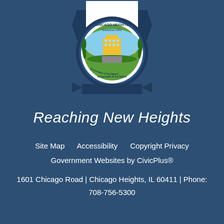[Figure (logo): City of Chicago Heights municipal seal/logo — circular emblem with building, landscape, and laurel wreath on a dark blue background with ribbon banner]
Reaching New Heights
Site Map    Accessibility    Copyright Privacy
Government Websites by CivicPlus®
1601 Chicago Road | Chicago Heights, IL 60411 | Phone: 708-756-5300